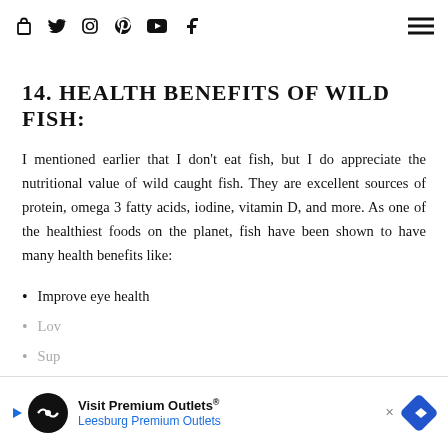Navigation bar with icons: bag, Twitter, Instagram, Pinterest, YouTube, Facebook, and hamburger menu
[Figure (photo): Product packaging banner in green showing omega-3 and dietary fiber information, NON GMO • VEGAN • GLUTEN FREE]
14. HEALTH BENEFITS OF WILD FISH:
I mentioned earlier that I don't eat fish, but I do appreciate the nutritional value of wild caught fish. They are excellent sources of protein, omega 3 fatty acids, iodine, vitamin D, and more. As one of the healthiest foods on the planet, fish have been shown to have many health benefits like:
Improve eye health
Low... (faded)
Sup... (faded)
[Figure (screenshot): Advertisement overlay: Visit Premium Outlets® Leesburg Premium Outlets]